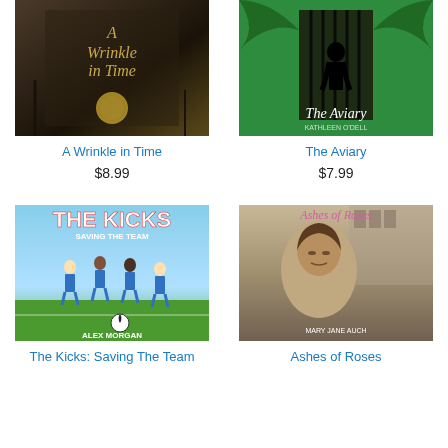[Figure (photo): Book cover of A Wrinkle in Time]
A Wrinkle in Time
$8.99
[Figure (photo): Book cover of The Aviary by Kathleen O'Dell]
The Aviary
$7.99
[Figure (photo): Book cover of The Kicks: Saving The Team by Alex Morgan]
The Kicks: Saving The Team
[Figure (photo): Book cover of Ashes of Roses by Mary Jane Auch]
Ashes of Roses